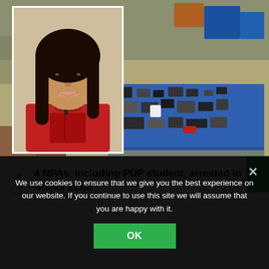[Figure (photo): Top portion showing a young woman in a red t-shirt (portrait photo overlaid on left) and a background photo of various items/confiscated goods spread on a blue tarp on the right]
1
4 NPAs, including PUP student, arrested in Nueva Ecija
We use cookies to ensure that we give you the best experience on our website. If you continue to use this site we will assume that you are happy with it.
OK